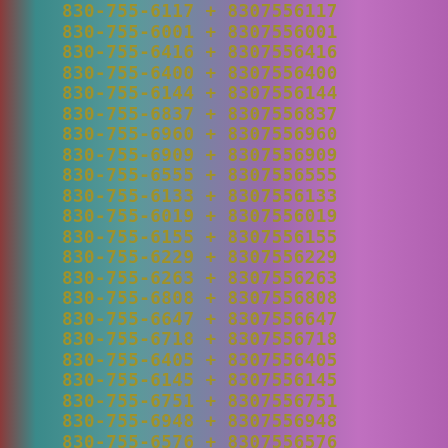830-755-6117 + 8307556117
830-755-6001 + 8307556001
830-755-6416 + 8307556416
830-755-6400 + 8307556400
830-755-6144 + 8307556144
830-755-6837 + 8307556837
830-755-6960 + 8307556960
830-755-6909 + 8307556909
830-755-6555 + 8307556555
830-755-6133 + 8307556133
830-755-6019 + 8307556019
830-755-6155 + 8307556155
830-755-6229 + 8307556229
830-755-6263 + 8307556263
830-755-6808 + 8307556808
830-755-6647 + 8307556647
830-755-6718 + 8307556718
830-755-6405 + 8307556405
830-755-6145 + 8307556145
830-755-6751 + 8307556751
830-755-6948 + 8307556948
830-755-6576 + 8307556576
830-755-6163 + 8307556163